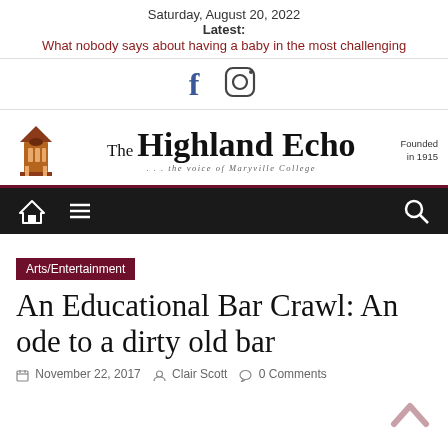Saturday, August 20, 2022
Latest:
What nobody says about having a baby in the most challenging
[Figure (logo): Facebook and Instagram social media icons]
[Figure (logo): The Highland Echo newspaper masthead logo with bell tower icon. Tagline: ... the voice of Maryville College. Founded in 1915.]
[Figure (screenshot): Dark navigation bar with home icon, hamburger menu, and search icon]
Arts/Entertainment
An Educational Bar Crawl: An ode to a dirty old bar
November 22, 2017   Clair Scott   0 Comments